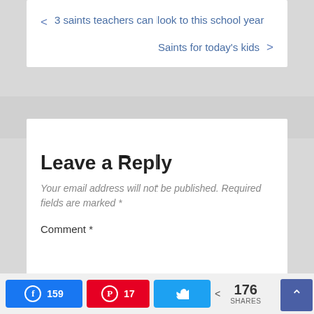< 3 saints teachers can look to this school year
Saints for today's kids >
Leave a Reply
Your email address will not be published. Required fields are marked *
Comment *
159 (Facebook) | 17 (Pinterest) | Twitter | 176 SHARES